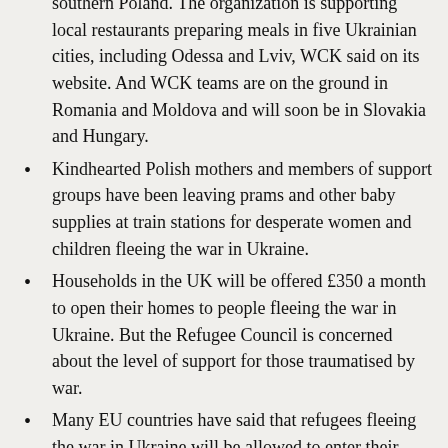southern Poland. The organization is supporting local restaurants preparing meals in five Ukrainian cities, including Odessa and Lviv, WCK said on its website. And WCK teams are on the ground in Romania and Moldova and will soon be in Slovakia and Hungary.
Kindhearted Polish mothers and members of support groups have been leaving prams and other baby supplies at train stations for desperate women and children fleeing the war in Ukraine.
Households in the UK will be offered £350 a month to open their homes to people fleeing the war in Ukraine. But the Refugee Council is concerned about the level of support for those traumatised by war.
Many EU countries have said that refugees fleeing the war in Ukraine will be allowed to enter their countries even without passports, or other valid travel documents; other EU countries, such as Ireland, have announced the immediate lifting of visa requirements for people coming from Ukraine. (N.B. UK is no longer in